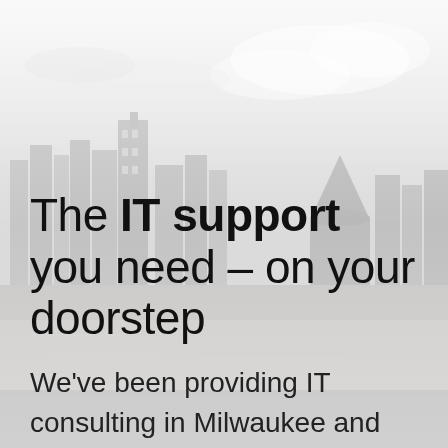[Figure (photo): Grayscale background photo of a city skyline (Milwaukee) with buildings, a dome structure, cloudy sky, and a waterfront area. The image is faded/light to allow text overlay.]
The IT support you need – on your doorstep
We've been providing IT consulting in Milwaukee and across Wisconsin for over 10 years.